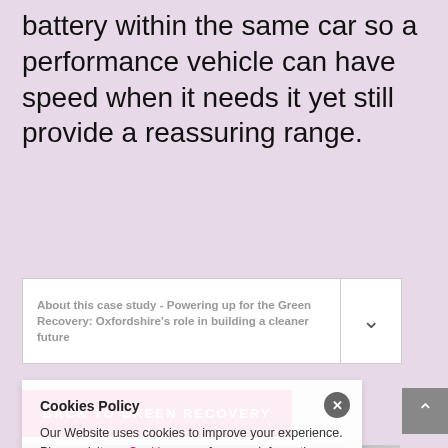battery within the same car so a performance vehicle can have speed when it needs it yet still provide a reassuring range.
About this case study - Powering up for the Green Recovery: Oxfordshire's role in building a cleaner future
BACK TO GREEN RECOVERY
[Figure (photo): Laboratory or workshop photo showing a person with blonde hair and scientific/industrial equipment in the background]
Cookies Policy
Our Website uses cookies to improve your experience. Please visit our Cookies page for more information about cookies and how we use them.